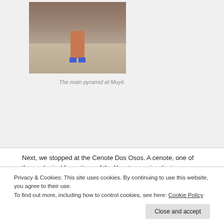[Figure (photo): Photo of person standing on ancient stone ruins (main pyramid at Muyil), showing legs with blue shoes on rough limestone blocks]
The main pyramid at Muyil.
Next, we stopped at the Cenote Dos Osos. A cenote, one of the geological formations of the Yucatan peninsula, is a sinkhole which exposes the groundwater underneath the limestone bedrock shelf. The Ancient Maya used cenotes as an important source of water, and regarded them as sacred. This particular cenote was developed into a pool-like facility,
Privacy & Cookies: This site uses cookies. By continuing to use this website, you agree to their use.
To find out more, including how to control cookies, see here: Cookie Policy
[Figure (photo): Bottom strip photo showing green tropical vegetation]